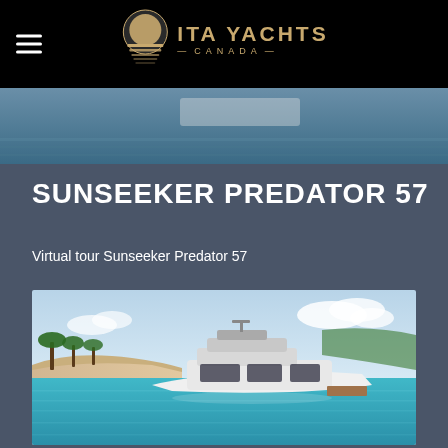ITA YACHTS CANADA
SUNSEEKER PREDATOR 57
Virtual tour Sunseeker Predator 57
[Figure (photo): Aerial/elevated view of a white Sunseeker Predator 57 motor yacht on turquoise water near a tropical beach with palm trees and clear sky]